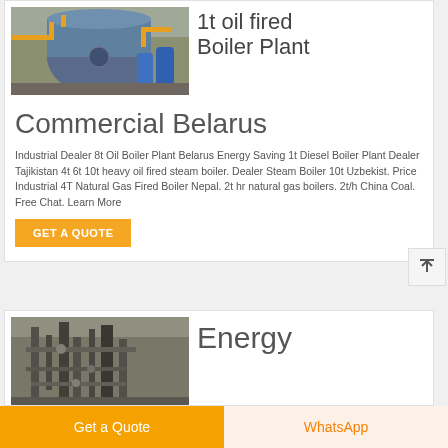[Figure (photo): Industrial boiler plant interior with large cylindrical blue boiler tank and yellow pipes]
1t oil fired Boiler Plant
Commercial Belarus
Industrial Dealer 8t Oil Boiler Plant Belarus Energy Saving 1t Diesel Boiler Plant Dealer Tajikistan 4t 6t 10t heavy oil fired steam boiler. Dealer Steam Boiler 10t Uzbekist. Price Industrial 4T Natural Gas Fired Boiler Nepal. 2t hr natural gas boilers. 2t/h China Coal. Free Chat. Learn More
GET A QUOTE
[Figure (photo): Industrial boiler or energy plant equipment with pipes and machinery]
Energy
Get a Quote
WhatsApp